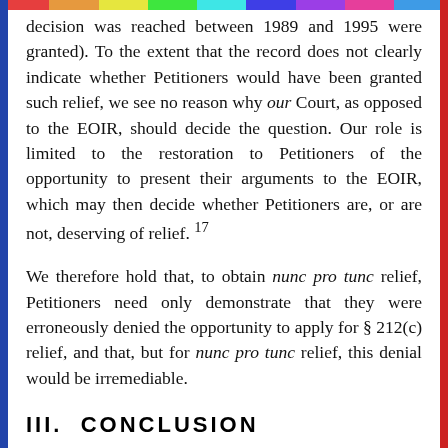decision was reached between 1989 and 1995 were granted). To the extent that the record does not clearly indicate whether Petitioners would have been granted such relief, we see no reason why our Court, as opposed to the EOIR, should decide the question. Our role is limited to the restoration to Petitioners of the opportunity to present their arguments to the EOIR, which may then decide whether Petitioners are, or are not, deserving of relief. 17
We therefore hold that, to obtain nunc pro tunc relief, Petitioners need only demonstrate that they were erroneously denied the opportunity to apply for § 212(c) relief, and that, but for nunc pro tunc relief, this denial would be irremediable.
III.  CONCLUSION
For the foregoing reasons, we hold that an award